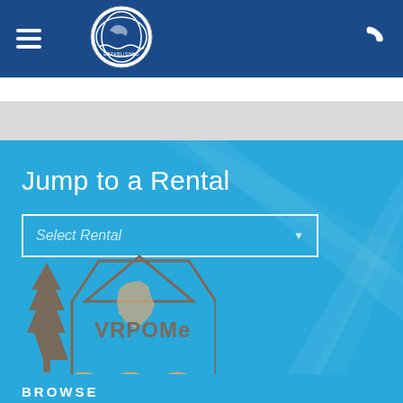Navigation header with hamburger menu, circular logo (Pro Globe Agency), and phone icon
[Figure (logo): Circular logo for Pro Globe Agency with wave/surf imagery, positioned in the center of the dark blue header bar]
[Figure (logo): VRPOMe - Vacation Rental Professionals of Maine logo with tree, house outline, Maine state shape, wavy water lines and text 'Vacation Rental Professionals of Maine']
Jump to a Rental
Select Rental
BROWSE